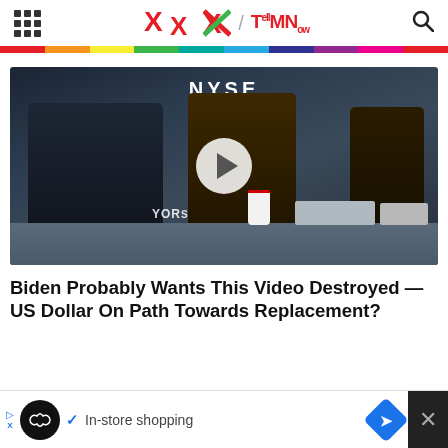X / TMN TellMeNow
[Figure (screenshot): Video thumbnail showing three people at a desk at the NYSE (New York Stock Exchange) trading floor, with a play button overlay. NYSE sign visible at top.]
Biden Probably Wants This Video Destroyed — US Dollar On Path Towards Replacement?
[Figure (screenshot): Advertisement banner at bottom: circular logo, checkmark, 'In-store shopping' text, navigation arrow icon, and close X button]